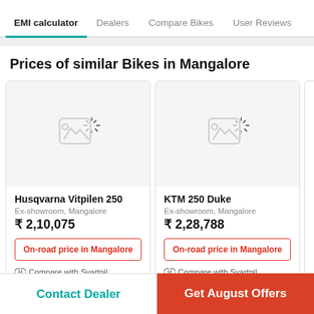EMI calculator | Dealers | Compare Bikes | User Reviews
Prices of similar Bikes in Mangalore
Husqvarna Vitpilen 250
Ex-showroom, Mangalore
₹ 2,10,075
On-road price in Mangalore
⚖ Compare with Svartpil...
KTM 250 Duke
Ex-showroom, Mangalore
₹ 2,28,788
On-road price in Mangalore
⚖ Compare with Svartpil...
Contact Dealer
Get August Offers